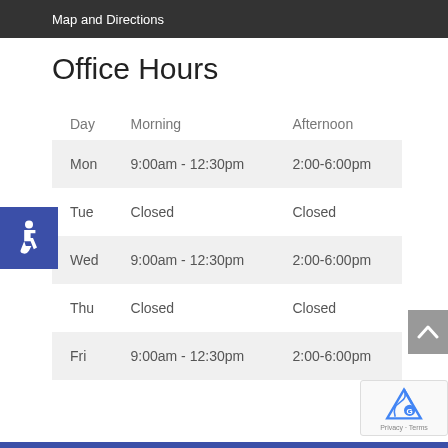Map and Directions
Office Hours
| Day | Morning | Afternoon |
| --- | --- | --- |
| Mon | 9:00am - 12:30pm | 2:00-6:00pm |
| Tue | Closed | Closed |
| Wed | 9:00am - 12:30pm | 2:00-6:00pm |
| Thu | Closed | Closed |
| Fri | 9:00am - 12:30pm | 2:00-6:00pm |